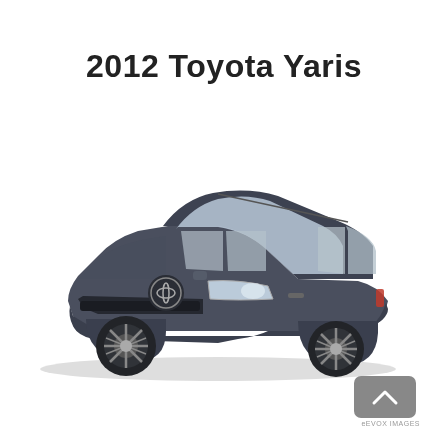2012 Toyota Yaris
[Figure (photo): Front three-quarter view of a dark gray 2012 Toyota Yaris hatchback on a white background]
[Figure (other): eVox Images navigation button — gray rounded rectangle with upward chevron arrow, labeled 'eEVOX IMAGES']